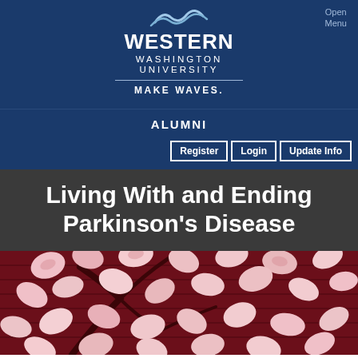Open Menu
[Figure (logo): Western Washington University logo with wave graphic and text: WESTERN WASHINGTON UNIVERSITY, MAKE WAVES.]
ALUMNI
Register | Login | Update Info
Living With and Ending Parkinson's Disease
[Figure (photo): Red and pink crumpled paper pieces scattered on a dark red wooden surface, resembling a tree branch pattern.]